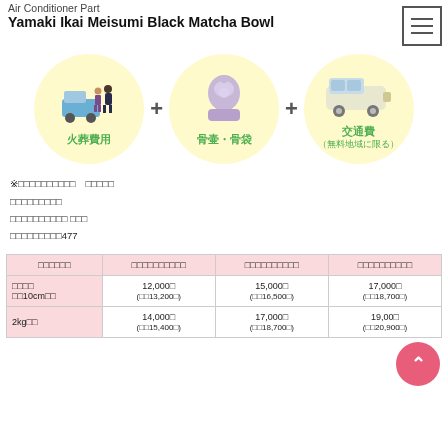Air Conditioner Part
Yamaki Ikai Meisumi Black Matcha Bowl
[Figure (illustration): Three yellow circles with icons: 火葬費用 (cremation costs) showing hearse and staff, 骨壷・骨袋 (urn and bone bag) showing an urn, 交通費（無料地域に限る）(transportation fee, limited to free areas) showing a van. Plus signs between them.]
※□□□□□□□□□□　□□□□□
□□□□□□□□□
□□□□□□□□□□ □□□
□□□□□□□□□477
| □□□□□□ | □□□□□□□□□□ | □□□□□□□□□□ | □□□□□□□□□□ |
| --- | --- | --- | --- |
| □□□□
□□10cm□□ | 12,000□
(□□13,200□) | 15,000□
(□□16,500□) | 17,000□
(□□18,700□) |
| 2kg□□ | 14,000□
(□□15,400□) | 17,000□
(□□18,700□) | 19,00□
(□□20,900□) |